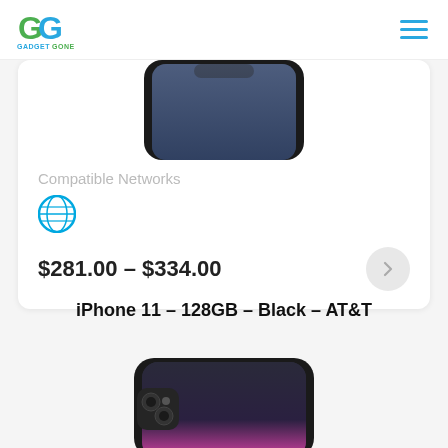GadgetGone
[Figure (photo): Top portion of a black iPhone visible at the top of a product card]
Compatible Networks
[Figure (logo): AT&T logo - blue globe icon]
$281.00 – $334.00
iPhone 11 – 128GB – Black – AT&T
[Figure (photo): iPhone 11 in black color showing front and back, with dual camera and notch display, pink/magenta light on screen]